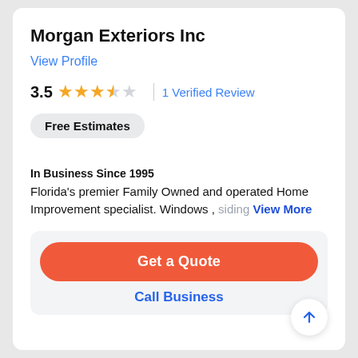Morgan Exteriors Inc
View Profile
3.5  1 Verified Review
Free Estimates
In Business Since 1995
Florida's premier Family Owned and operated Home Improvement specialist. Windows , siding  View More
Get a Quote
Call Business